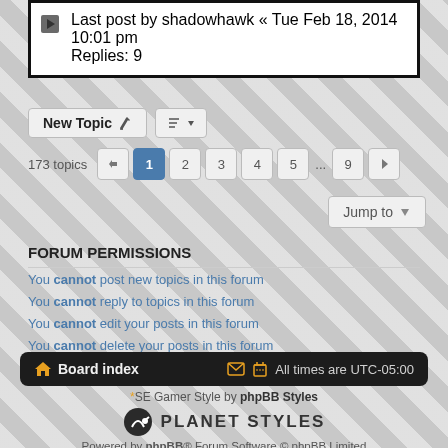Last post by shadowhawk « Tue Feb 18, 2014 10:01 pm
Replies: 9
New Topic
173 topics  1 2 3 4 5 ... 9
Jump to
FORUM PERMISSIONS
You cannot post new topics in this forum
You cannot reply to topics in this forum
You cannot edit your posts in this forum
You cannot delete your posts in this forum
Board index  All times are UTC-05:00
*SE Gamer Style by phpBB Styles
PLANET STYLES
Powered by phpBB® Forum Software © phpBB Limited